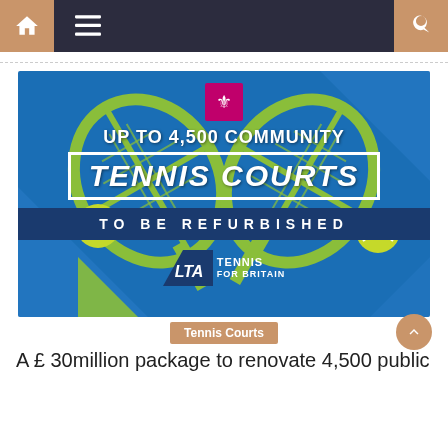[Figure (screenshot): Website navigation bar with home icon, hamburger menu, and search icon on dark background with salmon/orange accent colors]
[Figure (infographic): LTA Tennis for Britain promotional banner on blue background with crossed tennis rackets. Text reads: UP TO 4,500 COMMUNITY TENNIS COURTS TO BE REFURBISHED. Features UK Government royal crest badge and LTA logo.]
Tennis Courts
A £ 30million package to renovate 4,500 public